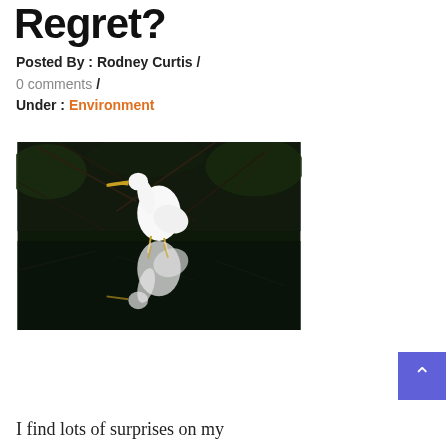Regret?
Posted By : Rodney Curtis / 0 comments  /  Under : Environment
[Figure (photo): A great egret standing in dark water with its reflection visible below, surrounded by dark branches and vegetation in the background.]
I find lots of surprises on my